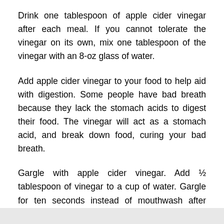Drink one tablespoon of apple cider vinegar after each meal. If you cannot tolerate the vinegar on its own, mix one tablespoon of the vinegar with an 8-oz glass of water.
Add apple cider vinegar to your food to help aid with digestion. Some people have bad breath because they lack the stomach acids to digest their food. The vinegar will act as a stomach acid, and break down food, curing your bad breath.
Gargle with apple cider vinegar. Add ½ tablespoon of vinegar to a cup of water. Gargle for ten seconds instead of mouthwash after meals to cure bad breath.